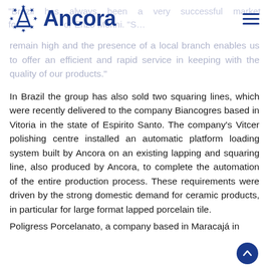Ancora
"Brazil has always been a very successful market for … or Enzo Morini. "S… remain high and the presence of a local branch enables us to offer an efficient and rapid service in keeping with the quality of our products."
In Brazil the group has also sold two squaring lines, which were recently delivered to the company Biancogres based in Vitoria in the state of Espirito Santo. The company's Vitcer polishing centre installed an automatic platform loading system built by Ancora on an existing lapping and squaring line, also produced by Ancora, to complete the automation of the entire production process. These requirements were driven by the strong domestic demand for ceramic products, in particular for large format lapped porcelain tile.
Poligress Porcelanato, a company based in Maracajá in